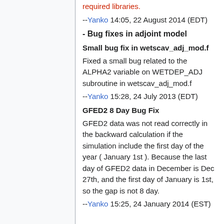required libraries.
--Yanko 14:05, 22 August 2014 (EDT)
- Bug fixes in adjoint model
Small bug fix in wetscav_adj_mod.f
Fixed a small bug related to the ALPHA2 variable on WETDEP_ADJ subroutine in wetscav_adj_mod.f
--Yanko 15:28, 24 July 2013 (EDT)
GFED2 8 Day Bug Fix
GFED2 data was not read correctly in the backward calculation if the simulation include the first day of the year ( January 1st ). Because the last day of GFED2 data in December is Dec 27th, and the first day of January is 1st, so the gap is not 8 day.
--Yanko 15:25, 24 January 2014 (EST)